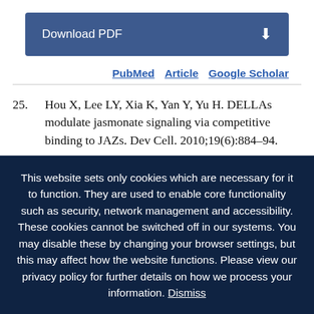[Figure (other): Download PDF button with download icon]
PubMed  Article  Google Scholar
25.  Hou X, Lee LY, Xia K, Yan Y, Yu H. DELLAs modulate jasmonate signaling via competitive binding to JAZs. Dev Cell. 2010;19(6):884–94.
This website sets only cookies which are necessary for it to function. They are used to enable core functionality such as security, network management and accessibility. These cookies cannot be switched off in our systems. You may disable these by changing your browser settings, but this may affect how the website functions. Please view our privacy policy for further details on how we process your information. Dismiss